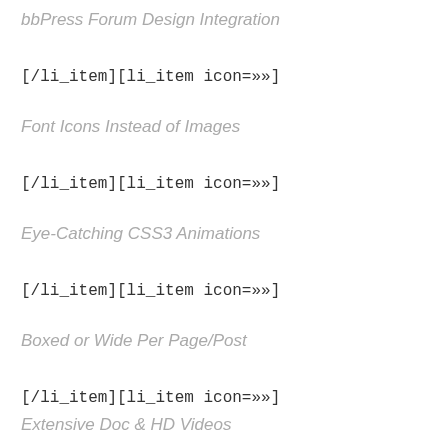bbPress Forum Design Integration
[/li_item][li_item icon=»»]
Font Icons Instead of Images
[/li_item][li_item icon=»»]
Eye-Catching CSS3 Animations
[/li_item][li_item icon=»»]
Boxed or Wide Per Page/Post
[/li_item][li_item icon=»»]
Extensive Doc & HD Videos